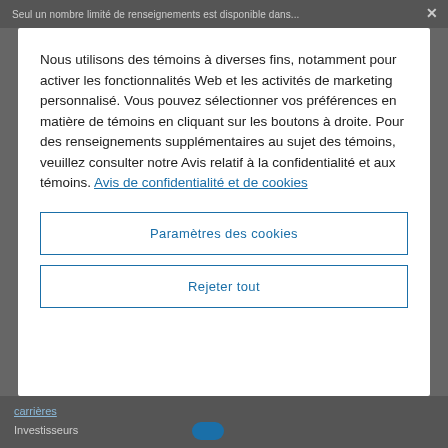Seul un nombre limité de renseignements est disponible dans...
Nous utilisons des témoins à diverses fins, notamment pour activer les fonctionnalités Web et les activités de marketing personnalisé. Vous pouvez sélectionner vos préférences en matière de témoins en cliquant sur les boutons à droite. Pour des renseignements supplémentaires au sujet des témoins, veuillez consulter notre Avis relatif à la confidentialité et aux témoins. Avis de confidentialité et de cookies
Paramètres des cookies
Rejeter tout
carrières
Investisseurs